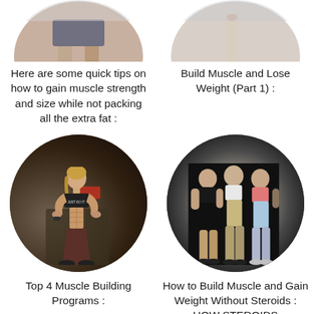[Figure (photo): Partial top of circular photo showing muscular legs/lower body of a fitness person, cropped at top]
[Figure (photo): Partial top of circular photo showing a person standing, cropped at top]
Here are some quick tips on how to gain muscle strength and size while not packing all the extra fat :
Build Muscle and Lose Weight (Part 1) :
[Figure (photo): Circular photo of a muscular athletic blonde woman in black Nike sports bra with 'JUST DO IT.' text, hands on hips, showing defined abs]
[Figure (photo): Circular photo of three women standing together against dark background, wearing athletic wear, fit physiques]
Top 4 Muscle Building Programs :
How to Build Muscle and Gain Weight Without Steroids : HOW STEROIDS